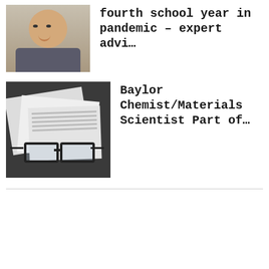[Figure (photo): Headshot of a smiling man, photo thumbnail for news article about pandemic school year]
fourth school year in pandemic – expert advi…
[Figure (photo): Black and white photo of papers and eyeglasses on a desk, thumbnail for Baylor Chemist/Materials Scientist article]
Baylor Chemist/Materials Scientist Part of…